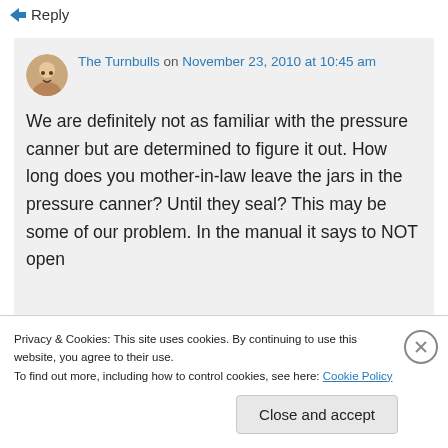↳ Reply
The Turnbulls on November 23, 2010 at 10:45 am
We are definitely not as familiar with the pressure canner but are determined to figure it out. How long does you mother-in-law leave the jars in the pressure canner? Until they seal? This may be some of our problem. In the manual it says to NOT open
Privacy & Cookies: This site uses cookies. By continuing to use this website, you agree to their use.
To find out more, including how to control cookies, see here: Cookie Policy
Close and accept